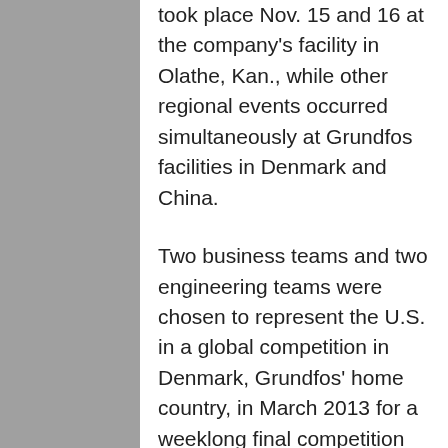took place Nov. 15 and 16 at the company's facility in Olathe, Kan., while other regional events occurred simultaneously at Grundfos facilities in Denmark and China.
Two business teams and two engineering teams were chosen to represent the U.S. in a global competition in Denmark, Grundfos' home country, in March 2013 for a weeklong final competition against their Chinese and Danish counterparts. The winning engineering students were Cole Bittel, John DiBaggio and Dave Minnick of the University of Kansas and Steven Stepanovic, Adam Byrnes and Daniel Nekola of the University of...